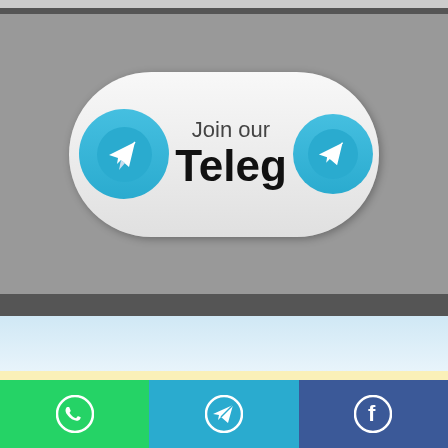[Figure (illustration): Telegram channel banner button with two Telegram icons (blue circles with white paper plane) on left and right, text 'Join our Teleg' in the center on a gray background]
Categories
Adharcard Usefull info (9)
ADMIT CARD (1)
All District Map (31)
ALL INDIA JOB (192)
Amazing Technology (10)
ANDROID APPLICATION (18)
ANDROID APPS (4)
Angalvadi Bharti (1)
[Figure (infographic): Bottom navigation bar with WhatsApp (green), Telegram (blue), and Facebook (dark blue) icon buttons]